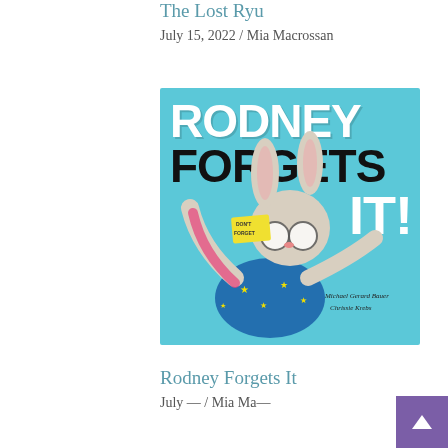The Lost Ryu
July 15, 2022 / Mia Macrossan
[Figure (illustration): Book cover of 'Rodney Forgets It!' by Michael Gerard Bauer, illustrated by Chrissie Krebs. A cartoon rabbit character in a star-patterned outfit with glasses and a sticky note saying 'DON'T FORGET' on a bright teal/aqua background. Title in large bold white and black lettering.]
Rodney Forgets It
July — / Mia Ma—